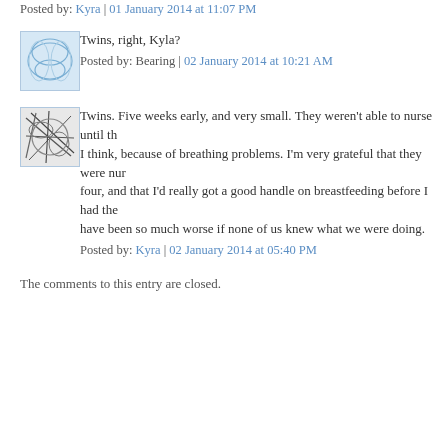Posted by: Kyra | 01 January 2014 at 11:07 PM
Twins, right, Kyla?
Posted by: Bearing | 02 January 2014 at 10:21 AM
Twins. Five weeks early, and very small. They weren't able to nurse until th... I think, because of breathing problems. I'm very grateful that they were nur... four, and that I'd really got a good handle on breastfeeding before I had the... have been so much worse if none of us knew what we were doing.
Posted by: Kyra | 02 January 2014 at 05:40 PM
The comments to this entry are closed.